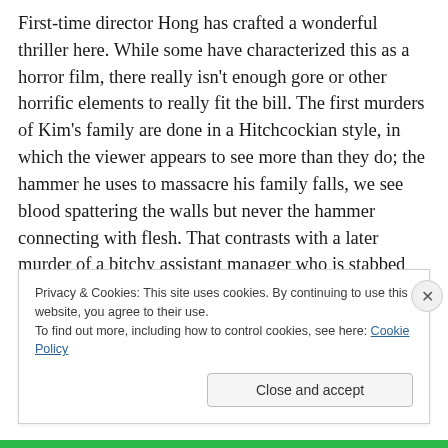First-time director Hong has crafted a wonderful thriller here. While some have characterized this as a horror film, there really isn't enough gore or other horrific elements to really fit the bill. The first murders of Kim's family are done in a Hitchcockian style, in which the viewer appears to see more than they do; the hammer he uses to massacre his family falls, we see blood spattering the walls but never the hammer connecting with flesh. That contrasts with a later murder of a bitchy assistant manager who is stabbed repeatedly until she falls into a heap to the floor and even
Privacy & Cookies: This site uses cookies. By continuing to use this website, you agree to their use.
To find out more, including how to control cookies, see here: Cookie Policy